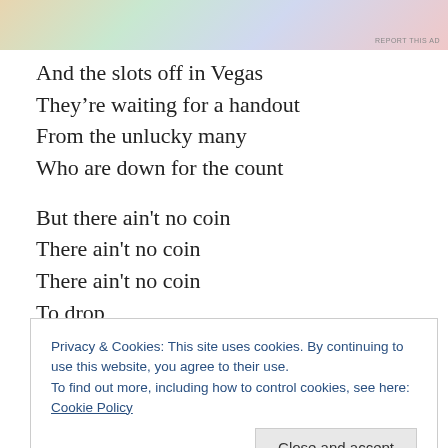[Figure (photo): Partial view of colorful currency notes — an advertisement banner at the top of the page with 'REPORT THIS AD' label.]
And the slots off in Vegas
They're waiting for a handout
From the unlucky many
Who are down for the count
But there ain't no coin
There ain't no coin
There ain't no coin
To drop
But there ain't no coin
Privacy & Cookies: This site uses cookies. By continuing to use this website, you agree to their use.
To find out more, including how to control cookies, see here: Cookie Policy
Rate this: